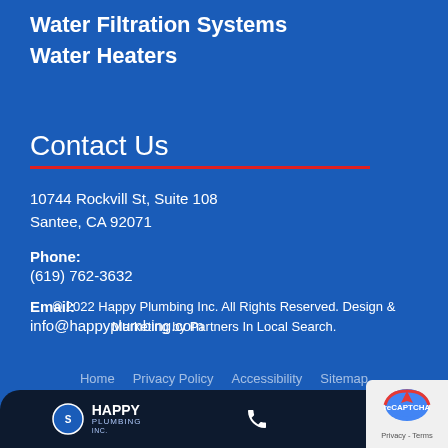Water Filtration Systems
Water Heaters
Contact Us
10744 Rockvill St, Suite 108
Santee, CA 92071
Phone:
(619) 762-3632
Email:
info@happyplumbing.com
© 2022 Happy Plumbing Inc. All Rights Reserved. Design & Marketing by Partners In Local Search.
Home  Privacy Policy  Accessibility  Sitemap